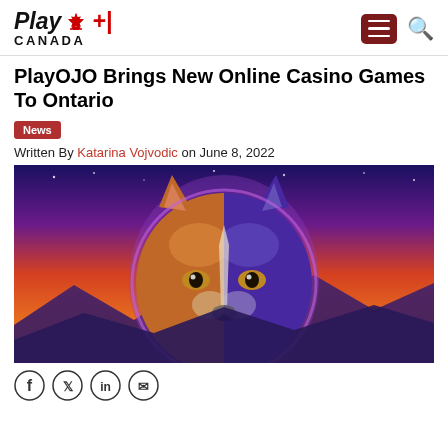Play Canada — navigation header with menu and search icons
PlayOJO Brings New Online Casino Games To Ontario
News
Written By Katarina Vojvodic on June 8, 2022
[Figure (illustration): Colorful digital illustration of a wolf face split down the middle — left half orange/brown tones, right half purple/blue tones — against a vivid sunset sky with mountains silhouetted below]
[Figure (other): Row of social media sharing icons: Facebook, Twitter, LinkedIn, and one more]